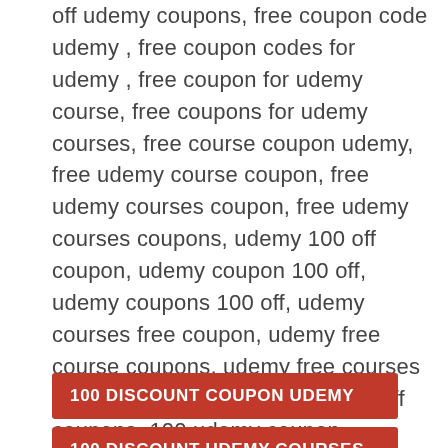off udemy coupons, free coupon code udemy , free coupon codes for udemy , free coupon for udemy course, free coupons for udemy courses, free course coupon udemy, free udemy course coupon, free udemy courses coupon, free udemy courses coupons, udemy 100 off coupon, udemy coupon 100 off, udemy coupons 100 off, udemy courses free coupon, udemy free course coupons, udemy free courses coupons ,100 off coupon, 100 % off coupons, 100 udemy coupon, couponscorpion , udemy 100 off, udemy 100 free coupon, udemy free 100 coupons , udemy 100 coupon codes, udemy 100 discount code, udemy 100 discount code, udemy 100 free coupon code ,HTML
100 DISCOUNT COUPON UDEMY
100 DISCOUNT UDEMY COURSES